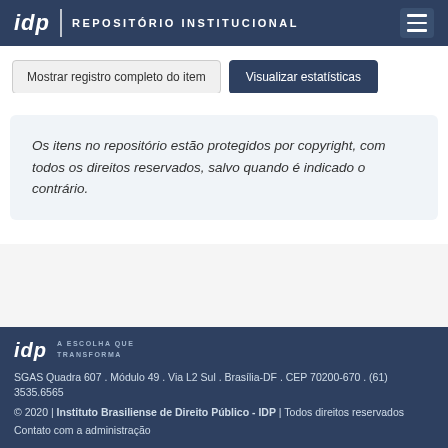idp | REPOSITÓRIO INSTITUCIONAL
Mostrar registro completo do item | Visualizar estatísticas
Os itens no repositório estão protegidos por copyright, com todos os direitos reservados, salvo quando é indicado o contrário.
idp A ESCOLHA QUE TRANSFORMA
SGAS Quadra 607 . Módulo 49 . Via L2 Sul . Brasília-DF . CEP 70200-670 . (61) 3535.6565
© 2020 | Instituto Brasiliense de Direito Público - IDP | Todos direitos reservados
Contato com a administração